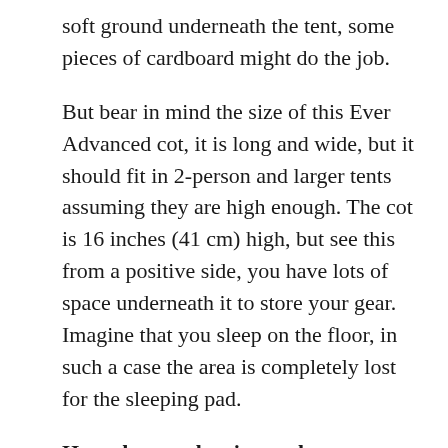soft ground underneath the tent, some pieces of cardboard might do the job.
But bear in mind the size of this Ever Advanced cot, it is long and wide, but it should fit in 2-person and larger tents assuming they are high enough. The cot is 16 inches (41 cm) high, but see this from a positive side, you have lots of space underneath it to store your gear. Imagine that you sleep on the floor, in such a case the area is completely lost for the sleeping pad.
How about a sleeping pad
For summer camping you can manage without